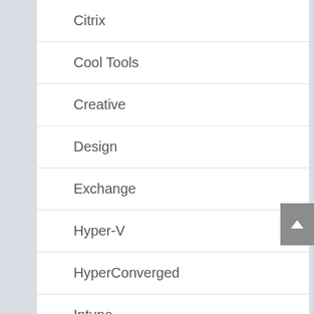Citrix
Cool Tools
Creative
Design
Exchange
Hyper-V
HyperConverged
Intune
MVP